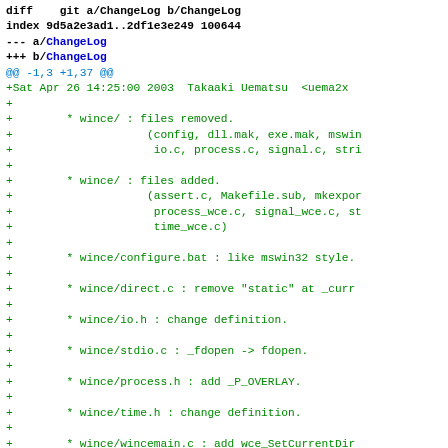diff --git a/ChangeLog b/ChangeLog
index 9d5a2e3ad1..2df1e3e249 100644
--- a/ChangeLog
+++ b/ChangeLog
@@ -1,3 +1,37 @@
+Sat Apr 26 14:25:00 2003  Takaaki Uematsu  <uema2x
+
+        * wince/ : files removed.
+                    (config, dll.mak, exe.mak, mswin
+                     io.c, process.c, signal.c, stri
+
+        * wince/ : files added.
+                    (assert.c, Makefile.sub, mkexpor
+                     process_wce.c, signal_wce.c, st
+                     time_wce.c)
+
+        * wince/configure.bat : like mswin32 style.
+
+        * wince/direct.c : remove "static" at _curr
+
+        * wince/io.h : change definition.
+
+        * wince/stdio.c : _fdopen -> fdopen.
+
+        * wince/process.h : add _P_OVERLAY.
+
+        * wince/time.h : change definition.
+
+        * wince/wincemain.c : add wce_SetCurrentDir
+
+        * wince/wince.c : add wce_SetCurrentDir and